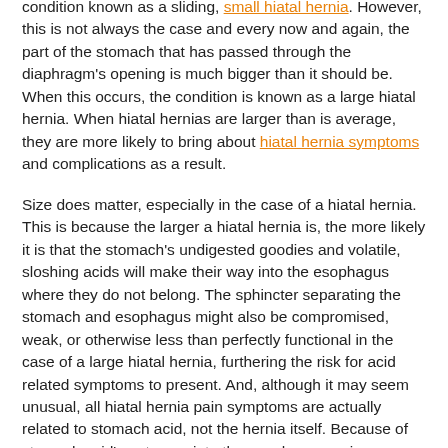condition known as a sliding, small hiatal hernia. However, this is not always the case and every now and again, the part of the stomach that has passed through the diaphragm's opening is much bigger than it should be. When this occurs, the condition is known as a large hiatal hernia. When hiatal hernias are larger than is average, they are more likely to bring about hiatal hernia symptoms and complications as a result.
Size does matter, especially in the case of a hiatal hernia. This is because the larger a hiatal hernia is, the more likely it is that the stomach's undigested goodies and volatile, sloshing acids will make their way into the esophagus where they do not belong. The sphincter separating the stomach and esophagus might also be compromised, weak, or otherwise less than perfectly functional in the case of a large hiatal hernia, furthering the risk for acid related symptoms to present. And, although it may seem unusual, all hiatal hernia pain symptoms are actually related to stomach acid, not the hernia itself. Because of stomach acid's entrance into the esophagus, pain can occur. The reason that pain occurs when acid backs up into the esophagus is that while the stomach is lined with protective layers that keep it safe from the acid's corrosive effects, the esophagus is not so lined and therefore exposure to stomach acid whether a result directly or indirectly from a large hiatal hernia can cause pain, irritation and inflammation.